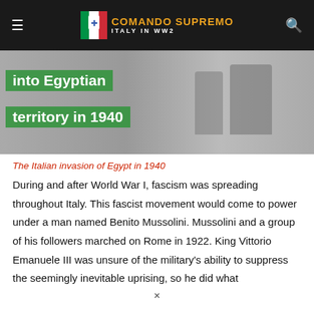COMANDO SUPREMO ITALY IN WW2
[Figure (photo): Black and white historical photo with green overlay text reading 'into Egyptian territory in 1940', showing soldiers in the background.]
The Italian invasion of Egypt in 1940
During and after World War I, fascism was spreading throughout Italy. This fascist movement would come to power under a man named Benito Mussolini. Mussolini and a group of his followers marched on Rome in 1922. King Vittorio Emanuele III was unsure of the military's ability to suppress the seemingly inevitable uprising, so he did what